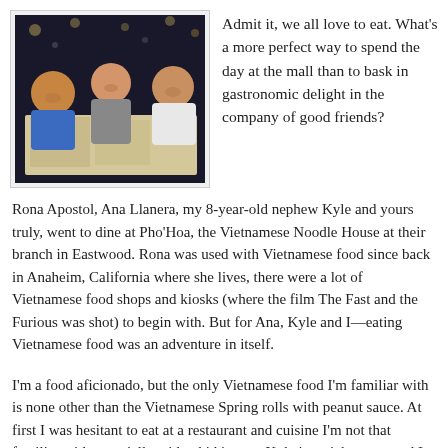[Figure (photo): Three young women sitting at a restaurant table at night, smiling at the camera. The table has menus and a drink can. Background shows a lit outdoor or semi-outdoor restaurant setting.]
Admit it, we all love to eat. What's a more perfect way to spend the day at the mall than to bask in gastronomic delight in the company of good friends?
Rona Apostol, Ana Llanera, my 8-year-old nephew Kyle and yours truly, went to dine at Pho'Hoa, the Vietnamese Noodle House at their branch in Eastwood. Rona was used with Vietnamese food since back in Anaheim, California where she lives, there were a lot of Vietnamese food shops and kiosks (where the film The Fast and the Furious was shot) to begin with. But for Ana, Kyle and I—eating Vietnamese food was an adventure in itself.
I'm a food aficionado, but the only Vietnamese food I'm familiar with is none other than the Vietnamese Spring rolls with peanut sauce. At first I was hesitant to eat at a restaurant and cuisine I'm not that familiar with especially with a kid in tow. Kyle is a picky eater and I was honestly